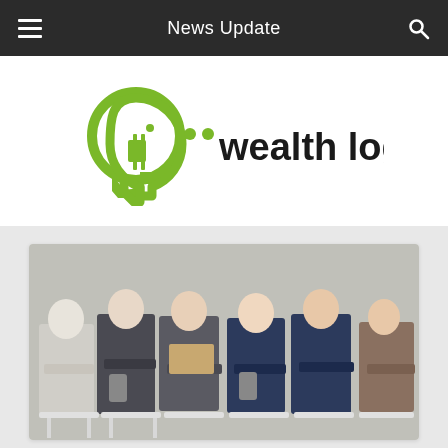News Update
[Figure (logo): Wealth Logic logo: green head silhouette with circuit/plug motif, bold text 'wealth logic']
[Figure (photo): Row of business professionals sitting on chairs, looking at phones and tablets, waiting room scene]